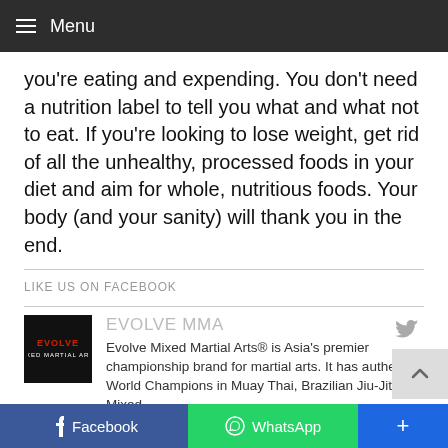Menu
you're eating and expending. You don't need a nutrition label to tell you what and what not to eat. If you're looking to lose weight, get rid of all the unhealthy, processed foods in your diet and aim for whole, nutritious foods. Your body (and your sanity) will thank you in the end.
LIKE US ON FACEBOOK
EVOLVE MMA
Evolve Mixed Martial Arts® is Asia's premier championship brand for martial arts. It has authentic World Champions in Muay Thai, Brazilian Jiu-Jitsu, Mixed
Facebook  WhatsApp  +